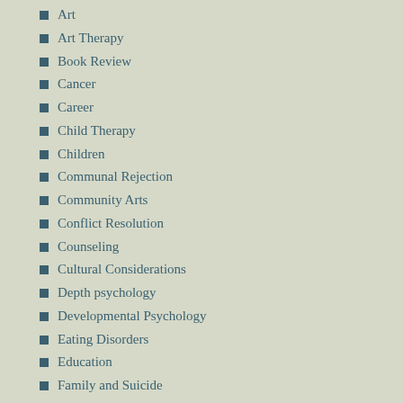Art
Art Therapy
Book Review
Cancer
Career
Child Therapy
Children
Communal Rejection
Community Arts
Conflict Resolution
Counseling
Cultural Considerations
Depth psychology
Developmental Psychology
Eating Disorders
Education
Family and Suicide
Family Therapy
Ferguson
Group Art Therapy
Group Supervision